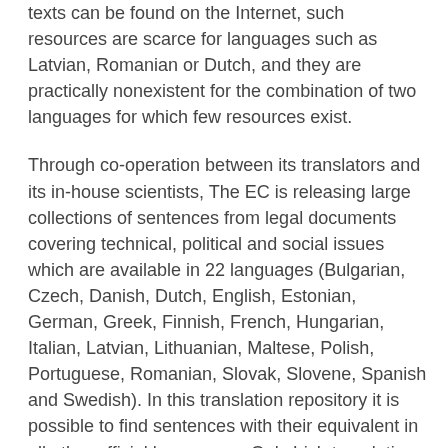texts can be found on the Internet, such resources are scarce for languages such as Latvian, Romanian or Dutch, and they are practically nonexistent for the combination of two languages for which few resources exist.
Through co-operation between its translators and its in-house scientists, The EC is releasing large collections of sentences from legal documents covering technical, political and social issues which are available in 22 languages (Bulgarian, Czech, Danish, Dutch, English, Estonian, German, Greek, Finnish, French, Hungarian, Italian, Latvian, Lithuanian, Maltese, Polish, Portuguese, Romanian, Slovak, Slovene, Spanish and Swedish). In this translation repository it is possible to find sentences with their equivalent in all other official languages . Only Irish translations are not yet available. This release of language data is a good example of the Commission's open policy of re-use of its information resources and follows the opening of the EU's documentary and terminological databases Eur-Lex and IATE.
The EC has extensive experience with the development of multilingual text processing tools and is at the forefront of